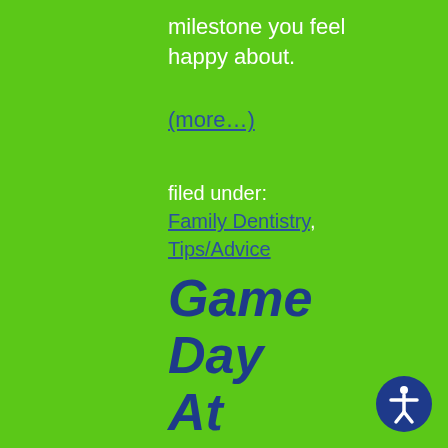milestone you feel happy about.
(more…)
filed under: Family Dentistry, Tips/Advice
Game Day At The